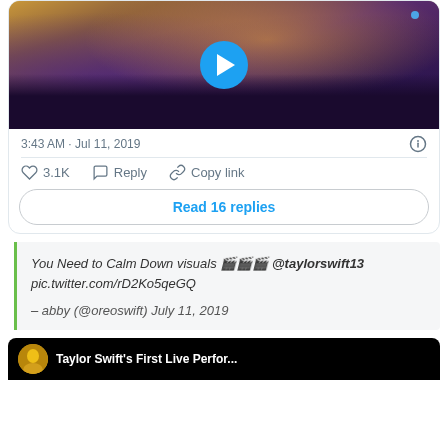[Figure (screenshot): Video thumbnail of a concert crowd with a blue play button overlay]
3:43 AM · Jul 11, 2019
3.1K  Reply  Copy link
Read 16 replies
You Need to Calm Down visuals 🎬🎬🎬 @taylorswift13 pic.twitter.com/rD2Ko5qeGQ
– abby (@oreoswift) July 11, 2019
[Figure (screenshot): Bottom card showing Taylor Swift's First Live Performance article/video thumbnail]